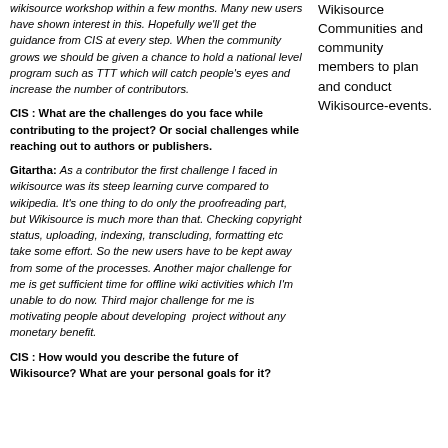wikisource workshop within a few months. Many new users have shown interest in this. Hopefully we'll get the guidance from CIS at every step. When the community grows we should be given a chance to hold a national level program such as TTT which will catch people's eyes and increase the number of contributors.
Wikisource Communities and community members to plan and conduct Wikisource-events.
CIS : What are the challenges do you face while contributing to the project? Or social challenges while reaching out to authors or publishers.
Gitartha: As a contributor the first challenge I faced in wikisource was its steep learning curve compared to wikipedia. It's one thing to do only the proofreading part, but Wikisource is much more than that. Checking copyright status, uploading, indexing, transcluding, formatting etc take some effort. So the new users have to be kept away from some of the processes. Another major challenge for me is get sufficient time for offline wiki activities which I'm unable to do now. Third major challenge for me is motivating people about developing project without any monetary benefit.
CIS : How would you describe the future of Wikisource? What are your personal goals for it?